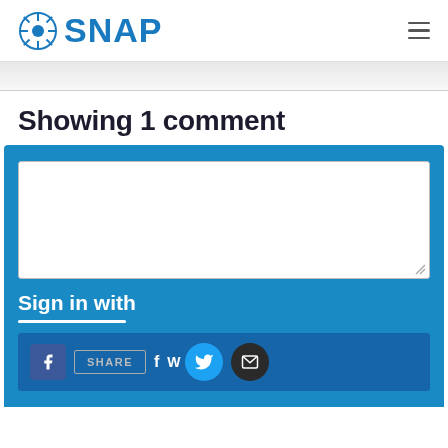SNAP
Showing 1 comment
Sign in with
[Figure (screenshot): Comment form area with text input box, Sign in with heading, white underline, and social sharing bar with Facebook icon, SHARE button, Facebook, Twitter, and email icons]